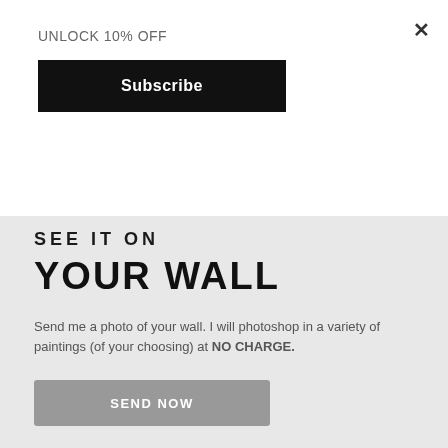UNLOCK 10% OFF
Subscribe
×
SEE IT ON YOUR WALL
Send me a photo of your wall. I will photoshop in a variety of paintings (of your choosing) at NO CHARGE.
SEND NOW
[Figure (photo): Abstract colorful painting with teal, red, orange, green, and purple hues on a light wall background]